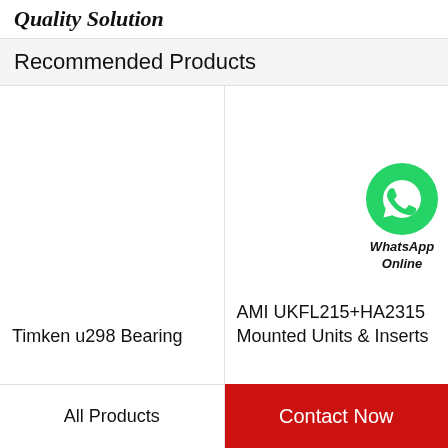Quality Solution
Recommended Products
Timken u298 Bearing
[Figure (logo): WhatsApp Online badge with green circle phone icon]
AMI UKFL215+HA2315 Mounted Units & Inserts
All Products | Contact Now